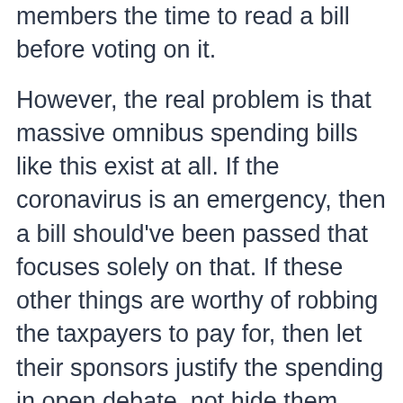members the time to read a bill before voting on it.
However, the real problem is that massive omnibus spending bills like this exist at all. If the coronavirus is an emergency, then a bill should've been passed that focuses solely on that. If these other things are worthy of robbing the taxpayers to pay for, then let their sponsors justify the spending in open debate, not hide them behind the camouflage of emergency virus aid.
Here's more on the bill and a call for President Trump to veto it and force Congress to pass a clean relief bill.